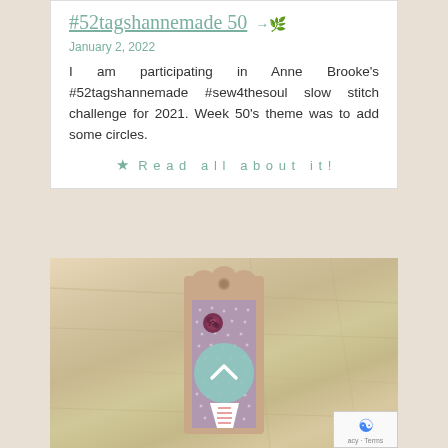#52tagshannemade 50
January 2, 2022
I am participating in Anne Brooke's #52tagshannemade #sew4thesoul slow stitch challenge for 2021. Week 50's theme was to add some circles.
★ Read all about it!
[Figure (photo): A handmade fabric tag on a wooden background. The tag has a kraft paper shape with a decorative scalloped top and a hole. A purple/mauve dotted fabric panel is attached to the tag. A small ribbon rose embellishment is at the top of the fabric. A mint green circle with an upward chevron arrow is overlaid on the tag. Below the circle is a white trapezoidal shape with striped stitching details.]
acy - Terms